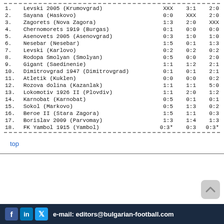| # | Team | Col1 | Col2 | Col3 |
| --- | --- | --- | --- | --- |
| 1. | Levski 2005 (Krumovgrad) | XXX | 3:1 | 2:0 |
| 2. | Sayana (Haskovo) | 0:0 | XXX | 2:0 |
| 3. | Zagorets (Nova Zagora) | 1:3 | 2:0 | XXX |
| 4. | Chernomorets 1919 (Burgas) | 0:1 | 0:0 | 0:0 |
| 5. | Asenovets 2005 (Asenovgrad) | 0:3 | 1:0 | 1:0 |
| 6. | Nesebar (Nesebar) | 1:5 | 0:1 | 1:3 |
| 7. | Levski (Karlovo) | 0:2 | 0:2 | 0:2 |
| 8. | Rodopa Smolyan (Smolyan) | 0:5 | 0:0 | 2:0 |
| 9. | Gigant (Saedinenie) | 1:1 | 1:2 | 2:1 |
| 10. | Dimitrovgrad 1947 (Dimitrovgrad) | 0:1 | 0:1 | 2:1 |
| 11. | Atletik (Kuklen) | 0:0 | 0:0 | 0:2 |
| 12. | Rozova dolina (Kazanlak) | 1:1 | 1:1 | 5:0 |
| 13. | Lokomotiv 1926 II (Plovdiv) | 1:1 | 2:0 | 1:2 |
| 14. | Karnobat (Karnobat) | 0:5 | 0:1 | 0:1 |
| 15. | Sokol (Markovo) | 0:5 | 1:3 | 0:2 |
| 16. | Beroe II (Stara Zagora) | 1:5 | 1:1 | 0:3 |
| 17. | Borislav 2009 (Parvomay) | 1:3 | 1:4 | 1:3 |
| 18. | FK Yambol 1915 (Yambol) | 0:3* | 0:3 | 0:3* |
top
e-mail: editors@bulgarian-football.com